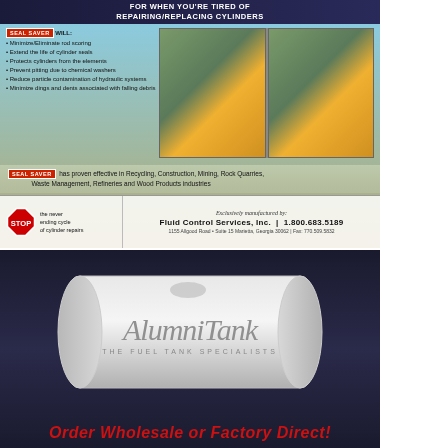[Figure (advertisement): Seal Saver hydraulic cylinder protection product advertisement showing excavator machinery photos, bullet point benefits, stop sign graphic, and contact information for Fluid Control Services, Inc.]
FOR WHEN YOU'RE TIRED OF REPAIRING/REPLACING CYLINDERS
Minimize/Eliminate rod scoring
Extend the life of cylinder seals
Protects cylinders from the elements
Prevent pitting due to chemical washers
Reduce particle contamination of hydraulic systems
Minimize dings and dents associated with falling debris
SEAL SAVER has proven effective in Recycling, Construction, Mining, Rock Quarries, Waste Management, Refineries and Wood Products industries
the never ending cycle of cylinder repairs
Exclusively manufactured by: Fluid Control Services, Inc. | 1.800.683.5189
1155 Allgood Road • Suite 15 Marietta, Georgia 30062 | Fax: 770.509.5832
[Figure (advertisement): AlumniTank fuel tank advertisement on dark navy background showing a large white cylindrical tank with AlumniTank logo and tagline 'The Fuel Tank Specialists' with text 'Order Wholesale or Factory Direct!']